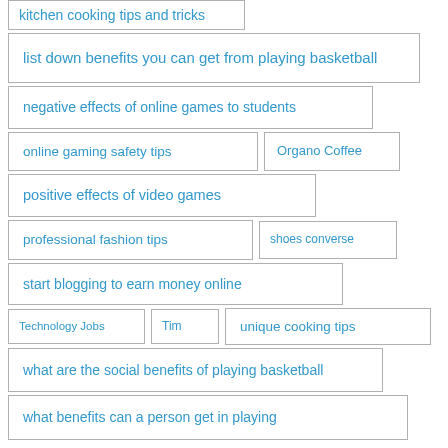kitchen cooking tips and tricks
list down benefits you can get from playing basketball
negative effects of online games to students
online gaming safety tips
Organo Coffee
positive effects of video games
professional fashion tips
shoes converse
start blogging to earn money online
Technology Jobs
Tim
unique cooking tips
what are the social benefits of playing basketball
what benefits can a person get in playing